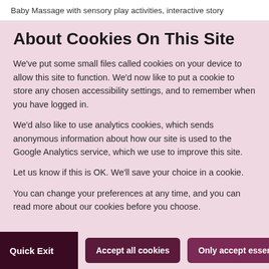Baby Massage with sensory play activities, interactive story
About Cookies On This Site
We've put some small files called cookies on your device to allow this site to function. We'd now like to put a cookie to store any chosen accessibility settings, and to remember when you have logged in.
We'd also like to use analytics cookies, which sends anonymous information about how our site is used to the Google Analytics service, which we use to improve this site.
Let us know if this is OK. We'll save your choice in a cookie.
You can change your preferences at any time, and you can read more about our cookies before you choose.
Accept all cookies
Only accept essential cookies
Quick Exit